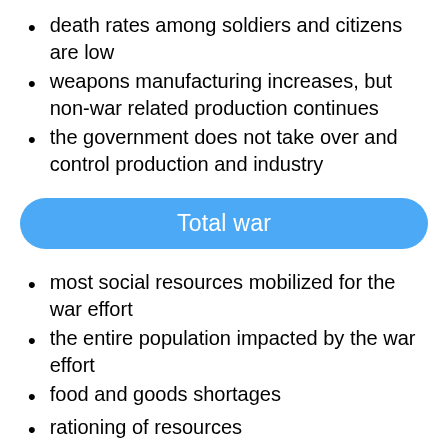death rates among soldiers and citizens are low
weapons manufacturing increases, but non-war related production continues
the government does not take over and control production and industry
Total war
most social resources mobilized for the war effort
the entire population impacted by the war effort
food and goods shortages
rationing of resources
leaders promote nationalist sentiment
enemy depicted as subhuman